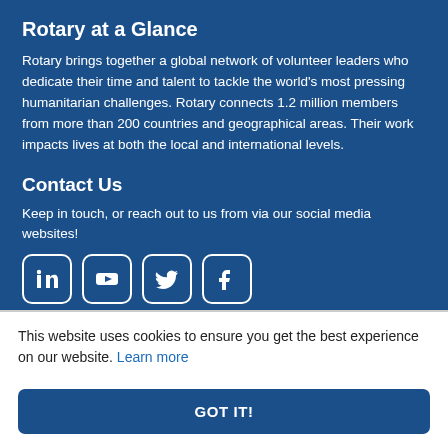Rotary at a Glance
Rotary brings together a global network of volunteer leaders who dedicate their time and talent to tackle the world's most pressing humanitarian challenges. Rotary connects 1.2 million members from more than 200 countries and geographical areas. Their work impacts lives at both the local and international levels.
Contact Us
Keep in touch, or reach out to us from via our social media websites!
[Figure (illustration): Four social media icons in white rounded-square outlines: LinkedIn, YouTube, Twitter, Facebook]
This website uses cookies to ensure you get the best experience on our website. Learn more
GOT IT!